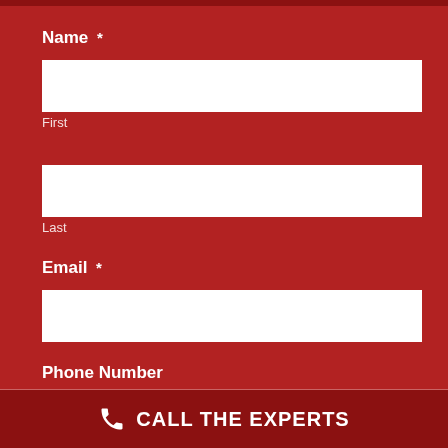Name *
First
Last
Email *
Phone Number
CALL THE EXPERTS